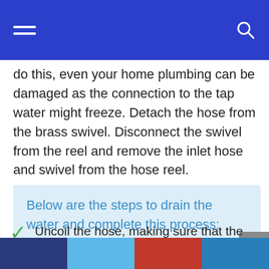Navigation bar with hamburger menu and search icon
do this, even your home plumbing can be damaged as the connection to the tap water might freeze. Detach the hose from the brass swivel. Disconnect the swivel from the reel and remove the inlet hose and swivel from the hose reel.
Below are the steps to drain the water and complete this process:
Uncoil the hose, making sure that the reel is higher than the end of the hose.
Footer color bar segments